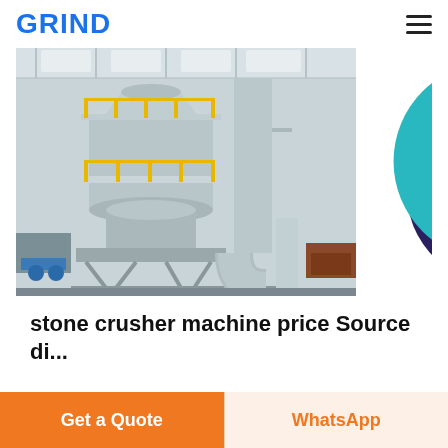GRIND
[Figure (photo): Industrial stone crusher / grinding mill machine inside a factory building with yellow guard railings, large cylindrical grinding units, and connected ductwork/piping systems.]
stone crusher machine price Source di...
Get a Quote
WhatsApp